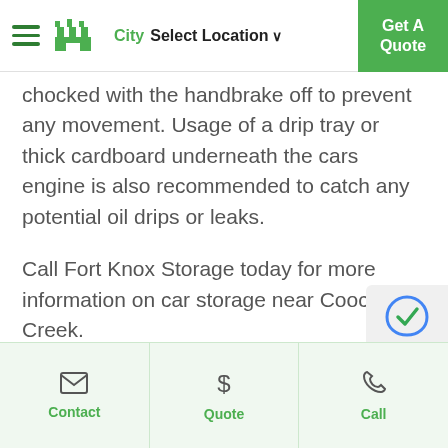City Select Location  Get A Quote
chocked with the handbrake off to prevent any movement. Usage of a drip tray or thick cardboard underneath the cars engine is also recommended to catch any potential oil drips or leaks.
Call Fort Knox Storage today for more information on car storage near Coochin Creek.
What do I need to do to my car to prepare it for long term storage?
Contact  Quote  Call